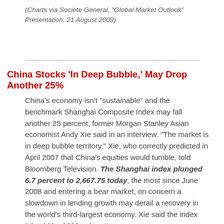(Charts via Societe General, "Global Market Outlook" Presentation, 21 August 2009)
China Stocks 'In Deep Bubble,' May Drop Another 25%
China's economy isn't "sustainable" and the benchmark Shanghai Composite Index may fall another 25 percent, former Morgan Stanley Asian economist Andy Xie said in an interview. "The market is in deep bubble territory," Xie, who correctly predicted in April 2007 that China's equities would tumble, told Bloomberg Television. The Shanghai index plunged 6.7 percent to 2,667.75 today, the most since June 2008 and entering a bear market, on concern a slowdown in lending growth may derail a recovery in the world's third-largest economy. Xie said the index "should be 2000 or less."